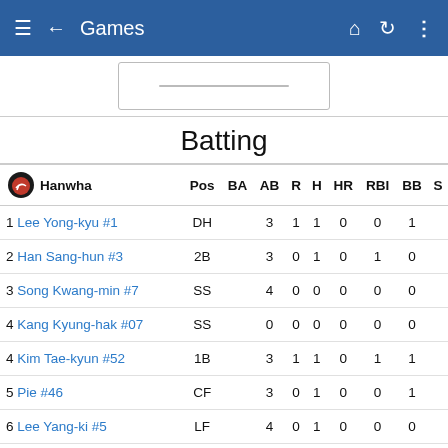Games
Batting
| Hanwha | Pos | BA | AB | R | H | HR | RBI | BB | S |
| --- | --- | --- | --- | --- | --- | --- | --- | --- | --- |
| 1 Lee Yong-kyu #1 | DH |  | 3 | 1 | 1 | 0 | 0 | 1 |  |
| 2 Han Sang-hun #3 | 2B |  | 3 | 0 | 1 | 0 | 1 | 0 |  |
| 3 Song Kwang-min #7 | SS |  | 4 | 0 | 0 | 0 | 0 | 0 |  |
| 4 Kang Kyung-hak #07 | SS |  | 0 | 0 | 0 | 0 | 0 | 0 |  |
| 4 Kim Tae-kyun #52 | 1B |  | 3 | 1 | 1 | 0 | 1 | 1 |  |
| 5 Pie #46 | CF |  | 3 | 0 | 1 | 0 | 0 | 1 |  |
| 6 Lee Yang-ki #5 | LF |  | 4 | 0 | 1 | 0 | 0 | 0 |  |